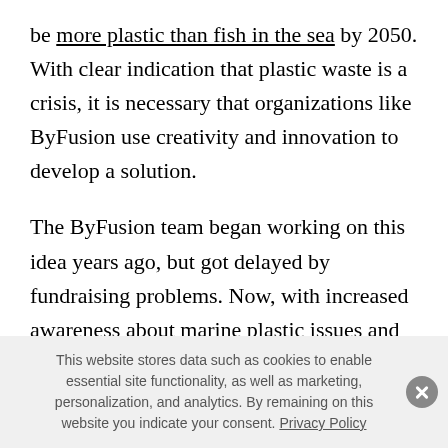be more plastic than fish in the sea by 2050. With clear indication that plastic waste is a crisis, it is necessary that organizations like ByFusion use creativity and innovation to develop a solution.
The ByFusion team began working on this idea years ago, but got delayed by fundraising problems. Now, with increased awareness about marine plastic issues and low oil prices, they decided it was the right time to re-launch. The company's first project will be working with Sustainable Coastlines Hawaii to process plastic waste
This website stores data such as cookies to enable essential site functionality, as well as marketing, personalization, and analytics. By remaining on this website you indicate your consent. Privacy Policy